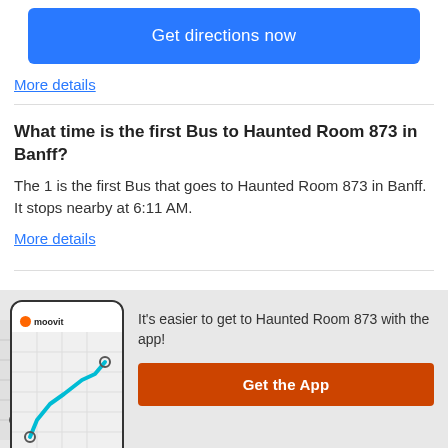Get directions now
More details
What time is the first Bus to Haunted Room 873 in Banff?
The 1 is the first Bus that goes to Haunted Room 873 in Banff. It stops nearby at 6:11 AM.
More details
What time is the last Bus to Haunted Room 873 in
[Figure (screenshot): Moovit app banner with phone mockup showing a transit route map with a teal path, orange dot, and Moovit logo]
It's easier to get to Haunted Room 873 with the app!
Get the App